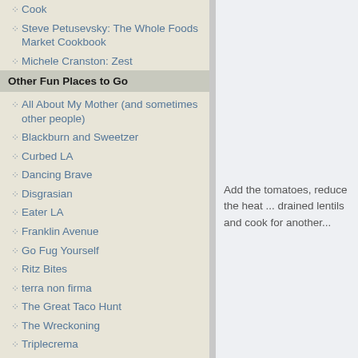Cook
Steve Petusevsky: The Whole Foods Market Cookbook
Michele Cranston: Zest
Other Fun Places to Go
All About My Mother (and sometimes other people)
Blackburn and Sweetzer
Curbed LA
Dancing Brave
Disgrasian
Eater LA
Franklin Avenue
Go Fug Yourself
Ritz Bites
terra non firma
The Great Taco Hunt
The Wreckoning
Triplecrema
Add the tomatoes, reduce the heat ... drained lentils and cook for another...
Taste for seasoning and serve top...